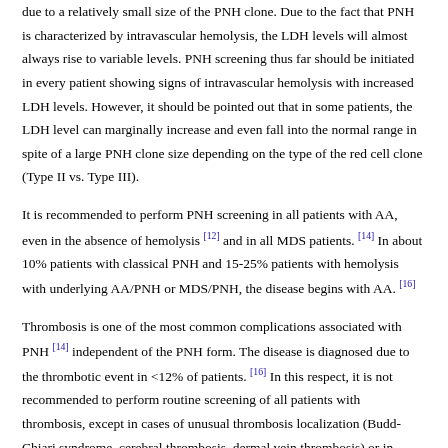due to a relatively small size of the PNH clone. Due to the fact that PNH is characterized by intravascular hemolysis, the LDH levels will almost always rise to variable levels. PNH screening thus far should be initiated in every patient showing signs of intravascular hemolysis with increased LDH levels. However, it should be pointed out that in some patients, the LDH level can marginally increase and even fall into the normal range in spite of a large PNH clone size depending on the type of the red cell clone (Type II vs. Type III).
It is recommended to perform PNH screening in all patients with AA, even in the absence of hemolysis [12] and in all MDS patients. [14] In about 10% patients with classical PNH and 15-25% patients with hemolysis with underlying AA/PNH or MDS/PNH, the disease begins with AA. [16]
Thrombosis is one of the most common complications associated with PNH [14] independent of the PNH form. The disease is diagnosed due to the thrombotic event in <12% of patients. [16] In this respect, it is not recommended to perform routine screening of all patients with thrombosis, except in cases of unusual thrombosis localization (Budd-Chiari syndrome, cerebral thrombosis, dermal vein thrombosis) or in combination with intravascular hemolysis, concurrent cytopenia